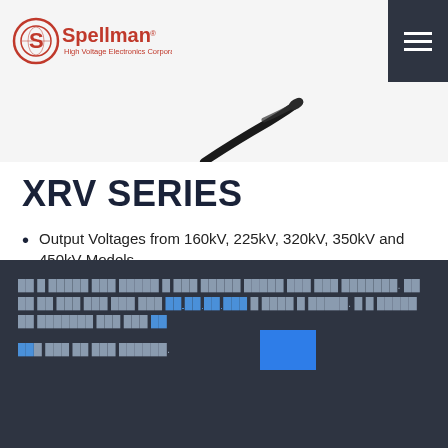Spellman High Voltage Electronics Corporation
[Figure (photo): Partial view of an X-Ray generator product (cable/connector visible)]
XRV SERIES
Output Voltages from 160kV, 225kV, 320kV, 350kV and 450kV Models
Output Power 1.8 kW-6 kW
Complete X-Ray Generator Package
Footer text with links and blue button (text obfuscated/redacted in original)